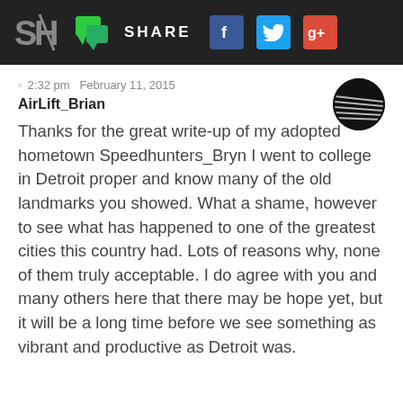SH | SHARE [Facebook] [Twitter] [Google+]
© 2:32 pm  February 11, 2015
AirlLift_Brian
Thanks for the great write-up of my adopted hometown Speedhunters_Bryn I went to college in Detroit proper and know many of the old landmarks you showed.  What a shame, however to see what has happened to one of the greatest cities this country had.  Lots of reasons why, none of them truly acceptable.  I do agree with you and many others here that there may be hope yet, but it will be a long time before we see something as vibrant and productive as Detroit was.